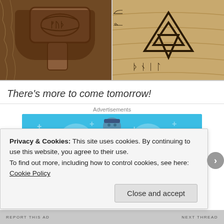[Figure (photo): Two photos side by side: left shows a Viking Thor's hammer (Mjolnir) carved in bronze/copper with runic engravings on fur background; right shows a wooden carving with runes and a Valknut (three interlocked triangles) symbol.]
There's more to come tomorrow!
Advertisements
[Figure (illustration): Day One app advertisement on blue background showing a cartoon figure holding a phone, flanked by a notebook icon and a list/document icon, with plus signs scattered in background and 'DAY ONE' text at bottom.]
Privacy & Cookies: This site uses cookies. By continuing to use this website, you agree to their use.
To find out more, including how to control cookies, see here: Cookie Policy
Close and accept